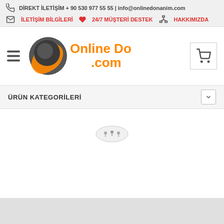DİREKT İLETİŞİM + 90 530 977 55 55 | info@onlinedonanim.com
İLETİŞİM BİLGİLERİ   24/7 MÜŞTERİ DESTEK   HAKKIMIZDA
[Figure (logo): Online Donanım .com logo with orange swoosh and gray sphere]
ÜRÜN KATEGORİLERİ
[Figure (other): Loading spinner icon]